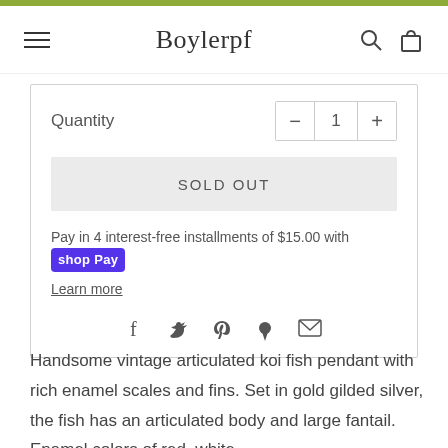Boylerpf
Quantity   −  1  +
SOLD OUT
Pay in 4 interest-free installments of $15.00 with shop Pay
Learn more
[Figure (infographic): Social sharing icons: Facebook, Twitter, Pinterest, Fancy, Email]
Handsome vintage articulated koi fish pendant with rich enamel scales and fins. Set in gold gilded silver, the fish has an articulated body and large fantail. Enamel colors of red, white,